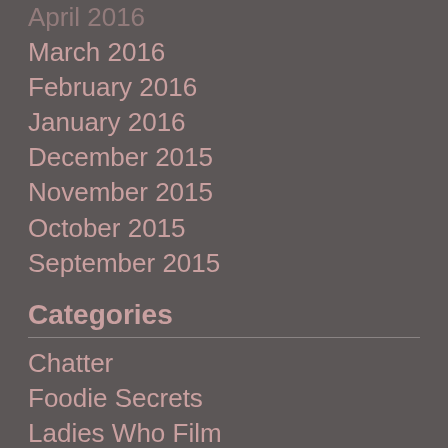April 2016
March 2016
February 2016
January 2016
December 2015
November 2015
October 2015
September 2015
Categories
Chatter
Foodie Secrets
Ladies Who Film
Uncategorized
Meta
Register